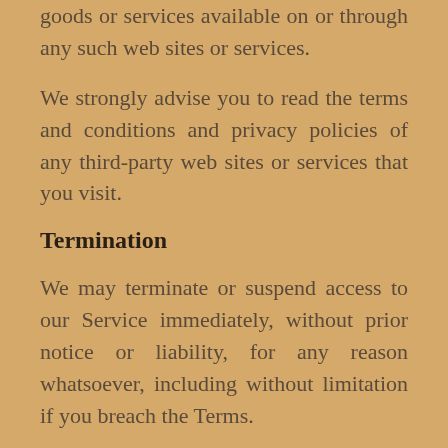goods or services available on or through any such web sites or services.
We strongly advise you to read the terms and conditions and privacy policies of any third-party web sites or services that you visit.
Termination
We may terminate or suspend access to our Service immediately, without prior notice or liability, for any reason whatsoever, including without limitation if you breach the Terms.
All provisions of the Terms which by their nature should survive termination shall survive termination, including without